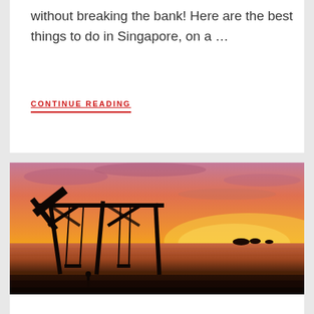without breaking the bank! Here are the best things to do in Singapore, on a …
CONTINUE READING
[Figure (photo): A beach sunset scene at dusk with silhouettes of a swing set structure and a person standing, orange and pink sky reflected on water, distant rocky outcrops visible on the horizon.]